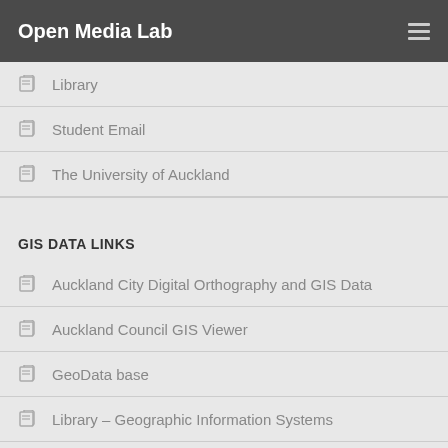Open Media Lab
Library
Student Email
The University of Auckland
GIS DATA LINKS
Auckland City Digital Orthography and GIS Data
Auckland Council GIS Viewer
GeoData base
Library – Geographic Information Systems